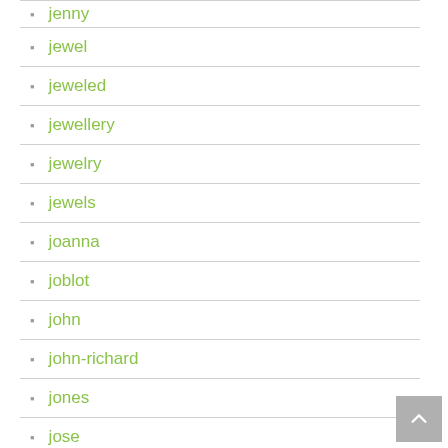jenny
jewel
jeweled
jewellery
jewelry
jewels
joanna
joblot
john
john-richard
jones
jose
jouel
joy443
joy444